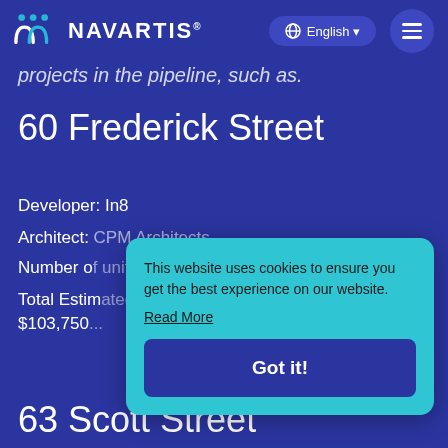NAVARTIS® — English navigation header
projects in the pipeline, such as.
60 Frederick Street
Developer: In8
Architect: [partially obscured]
Number of [units — partially obscured]
Total Estimated [value — partially obscured] $103,750[partially obscured]
This website uses cookies to ensure you get the best experience on our website.
Read More
63 Scott Street